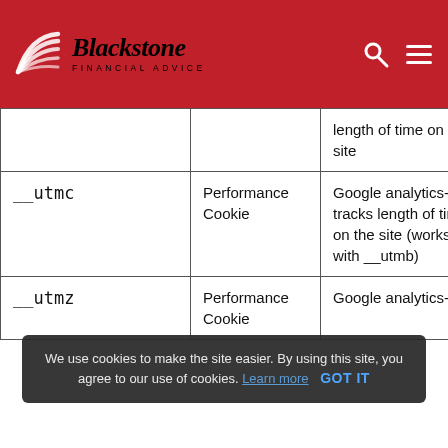[Figure (logo): Blackstone Financial Advice logo with red stripe graphic and text]
| Cookie | Type | Description | Duration |
| --- | --- | --- | --- |
|  |  | length of time on the site |  |
| __utmc | Performance Cookie | Google analytics- tracks length of time on the site (works with __utmb) | 30 minutes |
| __utmz | Performance Cookie | Google analytics- | 6 months |
We use cookies to make the site easier. By using this site, you agree to our use of cookies. Learn more   GOT IT